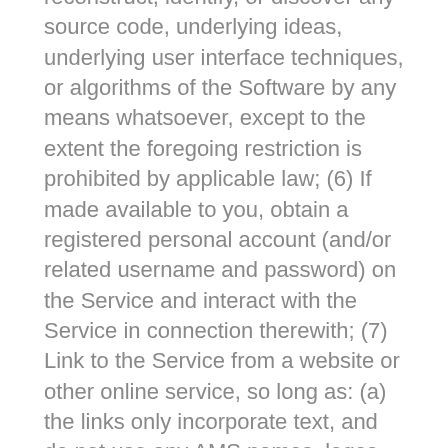reconstruct, identify, or discover any source code, underlying ideas, underlying user interface techniques, or algorithms of the Software by any means whatsoever, except to the extent the foregoing restriction is prohibited by applicable law; (6) If made available to you, obtain a registered personal account (and/or related username and password) on the Service and interact with the Service in connection therewith; (7) Link to the Service from a website or other online service, so long as: (a) the links only incorporate text, and do not use any AMS names, logos, or images, (b) the links and the content on your website do not suggest any affiliation with AMS or cause any other confusion, and (c) the links and the content on your website do not portray AMS or its products or services in a false, misleading, derogatory, or otherwise offensive manner, and do not contain content that is unlawful, offensive, obscene, lewd,